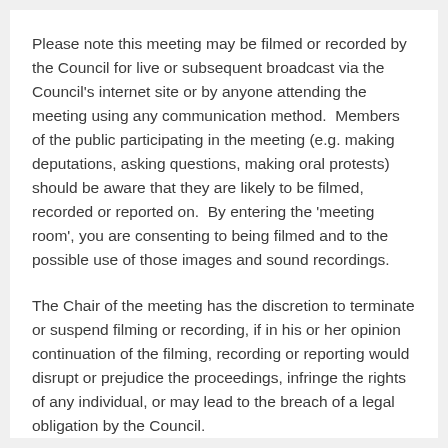Please note this meeting may be filmed or recorded by the Council for live or subsequent broadcast via the Council's internet site or by anyone attending the meeting using any communication method.  Members of the public participating in the meeting (e.g. making deputations, asking questions, making oral protests) should be aware that they are likely to be filmed, recorded or reported on.  By entering the 'meeting room', you are consenting to being filmed and to the possible use of those images and sound recordings.
The Chair of the meeting has the discretion to terminate or suspend filming or recording, if in his or her opinion continuation of the filming, recording or reporting would disrupt or prejudice the proceedings, infringe the rights of any individual, or may lead to the breach of a legal obligation by the Council.